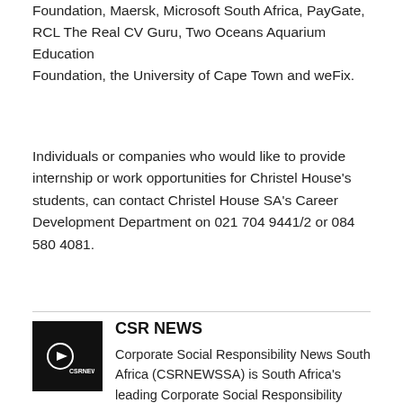Foundation, Maersk, Microsoft South Africa, PayGate, RCL The Real CV Guru, Two Oceans Aquarium Education Foundation, the University of Cape Town and weFix.
Individuals or companies who would like to provide internship or work opportunities for Christel House's students, can contact Christel House SA's Career Development Department on 021 704 9441/2 or 084 580 4081.
CSR NEWS
Corporate Social Responsibility News South Africa (CSRNEWSSA) is South Africa's leading Corporate Social Responsibility news, media and publishing firm. We create content on social responsibility, helping government, corporates,